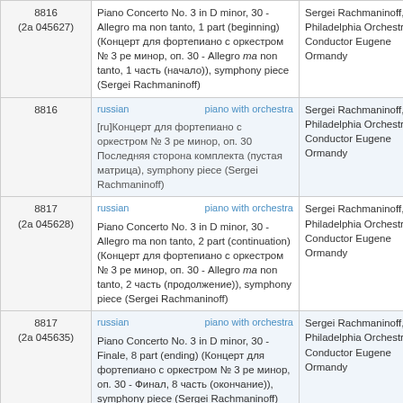| ID | Description | Attribution |
| --- | --- | --- |
| 8816
(2a 045627) | Piano Concerto No. 3 in D minor, 30 - Allegro ma non tanto, 1 part (beginning) (Концерт для фортепиано с оркестром № 3 ре минор, оп. 30 - Allegro ma non tanto, 1 часть (начало)), symphony piece (Sergei Rachmaninoff) | Sergei Rachmaninoff, ac Philadelphia Orchestra, Conductor Eugene Ormandy |
| 8816 | [ru]Концерт для фортепиано с оркестром № 3 ре минор, оп. 30 Последняя сторона комплекта (пустая матрица), symphony piece (Sergei Rachmaninoff) | Sergei Rachmaninoff, ac Philadelphia Orchestra, Conductor Eugene Ormandy |
| 8817
(2a 045628) | Piano Concerto No. 3 in D minor, 30 - Allegro ma non tanto, 2 part (continuation) (Концерт для фортепиано с оркестром № 3 ре минор, оп. 30 - Allegro ma non tanto, 2 часть (продолжение)), symphony piece (Sergei Rachmaninoff) | Sergei Rachmaninoff, ac Philadelphia Orchestra, Conductor Eugene Ormandy |
| 8817
(2a 045635) | Piano Concerto No. 3 in D minor, 30 - Finale, 8 part (ending) (Концерт для фортепиано с оркестром № 3 ре минор, оп. 30 - Финал, 8 часть (окончание)), symphony piece (Sergei Rachmaninoff) | Sergei Rachmaninoff, ac Philadelphia Orchestra, Conductor Eugene Ormandy |
| 8818 | Piano Concerto No. 3 in D minor, 30 - Allegro ma non tanto, 2 part (continuation) (Концерт для фортепиано с оркестром № 3 ре минор, оп. 30 - Allegro ma non tanto, 2 часть (продолжение)), symphony piece (Sergei Rachmaninoff) | Sergei Rachmaninoff, ac Philadelphia Orchestra, |